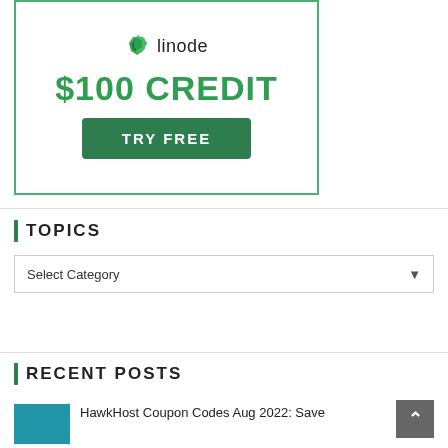[Figure (screenshot): Linode advertisement banner with green border showing '$100 CREDIT' in green text, Linode logo at top, and a 'TRY FREE' button]
TOPICS
Select Category
RECENT POSTS
HawkHost Coupon Codes Aug 2022: Save